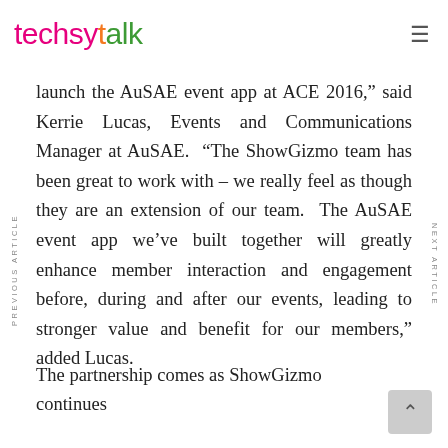techsytalk
launch the AuSAE event app at ACE 2016,” said Kerrie Lucas, Events and Communications Manager at AuSAE. “The ShowGizmo team has been great to work with – we really feel as though they are an extension of our team. The AuSAE event app we’ve built together will greatly enhance member interaction and engagement before, during and after our events, leading to stronger value and benefit for our members,” added Lucas.
The partnership comes as ShowGizmo continues
PREVIOUS ARTICLE
NEXT ARTICLE